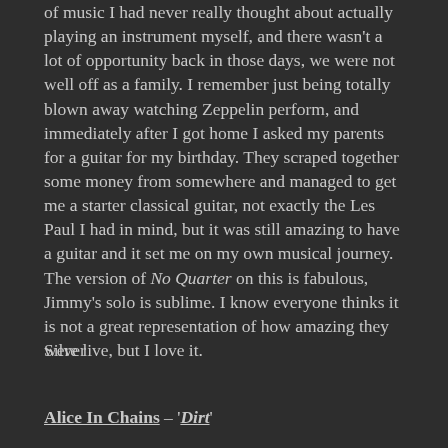of music I had never really thought about actually playing an instrument myself, and there wasn't a lot of opportunity back in those days, we were not well off as a family. I remember just being totally blown away watching Zeppelin perform, and immediately after I got home I asked my parents for a guitar for my birthday. They scraped together some money from somewhere and managed to get me a starter classical guitar, not exactly the Les Paul I had in mind, but it was still amazing to have a guitar and it set me on my own musical journey. The version of No Quarter on this is fabulous, Jimmy's solo is sublime. I know everyone thinks it is not a great representation of how amazing they were live, but I love it.
Silver
Alice In Chains – 'Dirt'